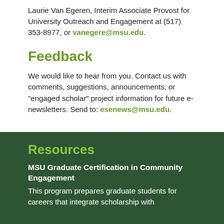Laurie Van Egeren, Interim Associate Provost for University Outreach and Engagement at (517) 353-8977, or vanegere@msu.edu.
Feedback
We would like to hear from you. Contact us with comments, suggestions, announcements, or "engaged scholar" project information for future e-newsletters. Send to: esenews@msu.edu.
Resources
MSU Graduate Certification in Community Engagement
This program prepares graduate students for careers that integrate scholarship with